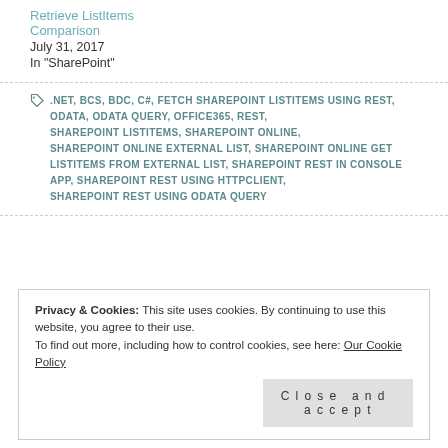Retrieve ListItems Comparison
July 31, 2017
In "SharePoint"
.NET, BCS, BDC, C#, FETCH SHAREPOINT LISTITEMS USING REST, ODATA, ODATA QUERY, OFFICE365, REST, SHAREPOINT LISTITEMS, SHAREPOINT ONLINE, SHAREPOINT ONLINE EXTERNAL LIST, SHAREPOINT ONLINE GET LISTITEMS FROM EXTERNAL LIST, SHAREPOINT REST IN CONSOLE APP, SHAREPOINT REST USING HTTPCLIENT, SHAREPOINT REST USING ODATA QUERY
Privacy & Cookies: This site uses cookies. By continuing to use this website, you agree to their use. To find out more, including how to control cookies, see here: Our Cookie Policy
Close and accept